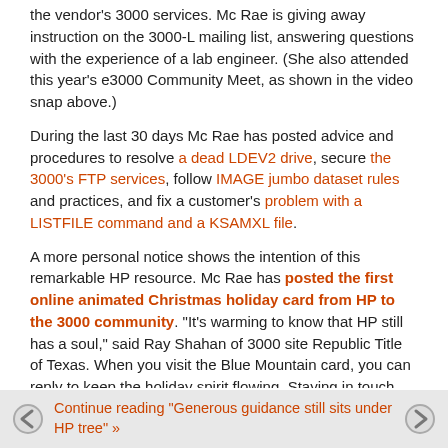the vendor's 3000 services. Mc Rae is giving away instruction on the 3000-L mailing list, answering questions with the experience of a lab engineer. (She also attended this year's e3000 Community Meet, as shown in the video snap above.)
During the last 30 days Mc Rae has posted advice and procedures to resolve a dead LDEV2 drive, secure the 3000's FTP services, follow IMAGE jumbo dataset rules and practices, and fix a customer's problem with a LISTFILE command and a KSAMXL file.
A more personal notice shows the intention of this remarkable HP resource. Mc Rae has posted the first online animated Christmas holiday card from HP to the 3000 community. "It's warming to know that HP still has a soul," said Ray Shahan of 3000 site Republic Title of Texas. When you visit the Blue Mountain card, you can reply to keep the holiday spirit flowing. Staying in touch with each other will be important in the year to come, especially to celebrate a message of peace.
Continue reading "Generous guidance still sits under HP tree" »